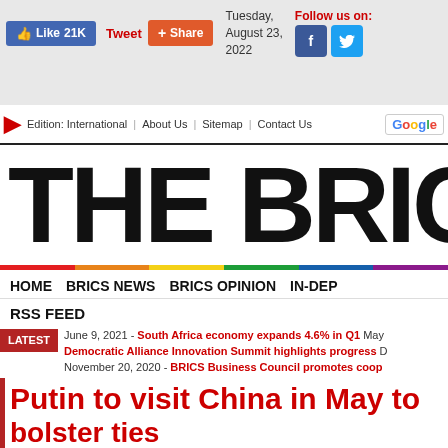Like 21K  Tweet  Share  Tuesday, August 23, 2022  Follow us on: [Facebook] [Twitter]
Edition: International | About Us | Sitemap | Contact Us
THE BRIC
HOME  BRICS NEWS  BRICS OPINION  IN-DEP  RSS FEED
LATEST June 9, 2021 - South Africa economy expands 4.6% in Q1 May Democratic Alliance Innovation Summit highlights progress D November 20, 2020 - BRICS Business Council promotes coop
Putin to visit China in May to bolster ties
2020 - Ramaphosa unveils economic recovery plan September 3, 2020 - to cushion consumers in Q2 September 23, 2020 - BRICS New Develo